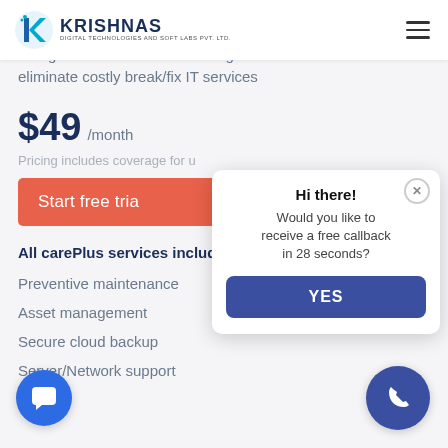[Figure (logo): Krishnas Digital Technologies and Soft Labs Pvt. Ltd. logo with stylized K in blue and teal]
carePlus
Designed for businesses looking to eliminate costly break/fix IT services
$49 /month
Pricing includes coverage for u
Start free tria
All carePlus services include:
Preventive maintenance
Asset management
Secure cloud backup
Server/Network support
[Figure (screenshot): Popup chat widget: Hi there! Would you like to receive a free callback in 28 seconds? YES button]
[Figure (other): Chat bubble floating button bottom left]
[Figure (other): Phone call floating button bottom right]